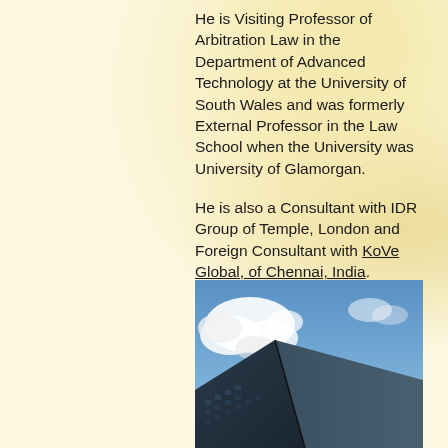He is Visiting Professor of Arbitration Law in the Department of Advanced Technology at the University of South Wales and was formerly External Professor in the Law School when the University was University of Glamorgan.
He is also a Consultant with IDR Group of Temple, London and Foreign Consultant with KoVe Global, of Chennai, India.
[Figure (photo): Photograph of a modern building with angular geometric facade, taken from below against a blue sky with white clouds.]